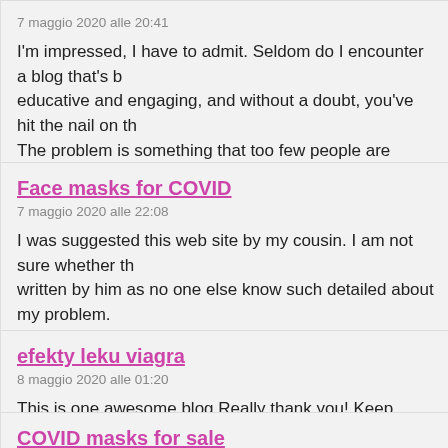7 maggio 2020 alle 20:41
I'm impressed, I have to admit. Seldom do I encounter a blog that's b... educative and engaging, and without a doubt, you've hit the nail on th... The problem is something that too few people are speaking intelligen... I came across this in my search for something regarding this.
Face masks for COVID
7 maggio 2020 alle 22:08
I was suggested this web site by my cousin. I am not sure whether th... written by him as no one else know such detailed about my problem.... amazing! Thanks!
efekty leku viagra
8 maggio 2020 alle 01:20
This is one awesome blog.Really thank you! Keep writing.
COVID masks for sale
8 maggio 2020 alle 01:21